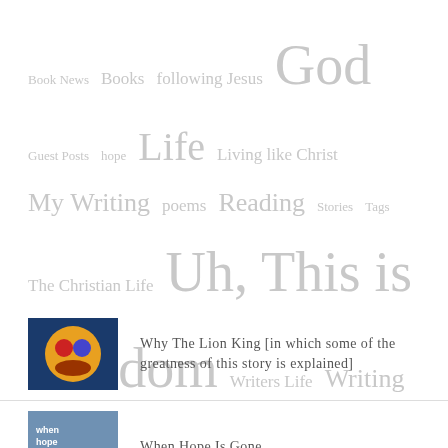Book News  Books  following Jesus  God  Guest Posts  hope  Life  Living like Christ  My Writing  poems  Reading  Stories  Tags  The Christian Life  Uh, This is Random  Writers Life  Writing
Why The Lion King [in which some of the greatness of this story is explained]
When Hope Is Gone
How To Do Something You've Never Done Before